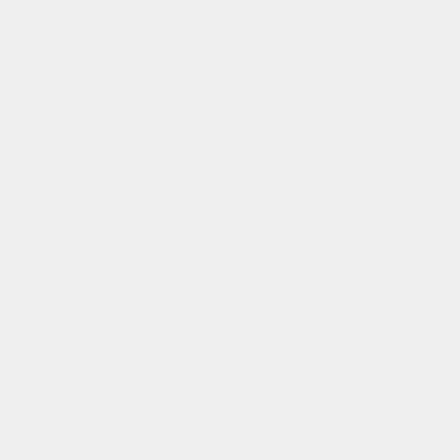established in 1... expanded our p...
Supplier: JIANG...
Automobile For...
Chuan Chi Indu... high-quality col... products...
Supplier: CHUA...
Power Train Fo...
ISO9002 Manu... quality automot... focus...
Supplier: KAO P...
Precciptator Bra...
Supplier: TAIZH...
Hot Forging Se...
Taiung SHORA...